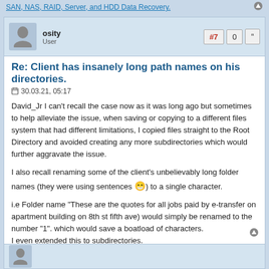SAN, NAS, RAID, Server, and HDD Data Recovery.
osity
User
#7  0  ""
Re: Client has insanely long path names on his directories.
30.03.21, 05:17
David_Jr I can't recall the case now as it was long ago but sometimes to help alleviate the issue, when saving or copying to a different files system that had different limitations, I copied files straight to the Root Directory and avoided creating any more subdirectories which would further aggravate the issue.

I also recall renaming some of the client's unbelievably long folder names (they were using sentences 😁) to a single character.

i.e Folder name "These are the quotes for all jobs paid by e-transfer on apartment building on 8th st fifth ave) would simply be renamed to the number "1". which would save a boatload of characters.
I even extended this to subdirectories.

Maybe you can somehow apply those techniques.